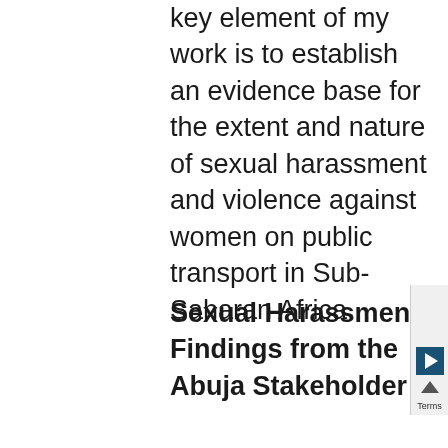key element of my work is to establish an evidence base for the extent and nature of sexual harassment and violence against women on public transport in Sub-Saharan Africa.
Sexual Harassment Findings from the Abuja Stakeholder